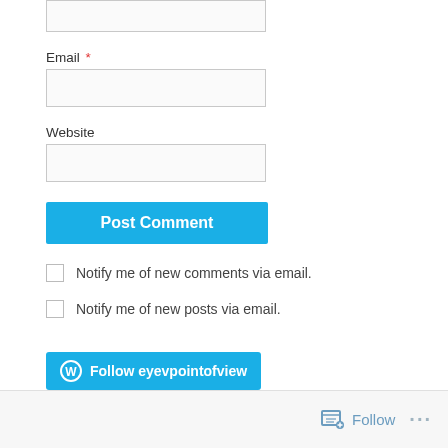Email *
Website
Post Comment
Notify me of new comments via email.
Notify me of new posts via email.
Follow eyevpointofview
Follow ...